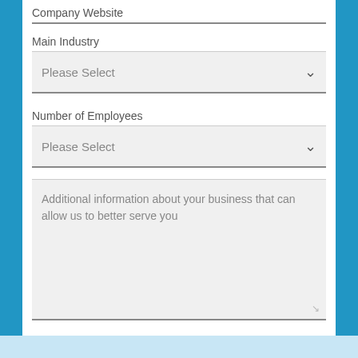Company Website
Main Industry
Please Select
Number of Employees
Please Select
Additional information about your business that can allow us to better serve you
SUBMIT